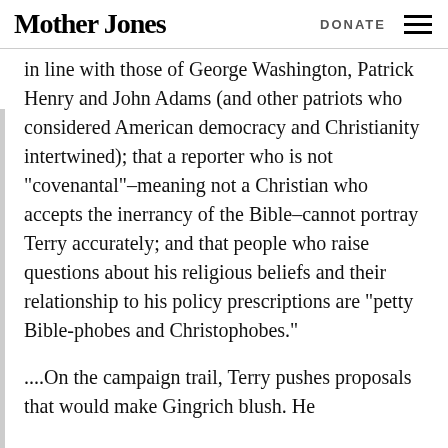Mother Jones   DONATE
in line with those of George Washington, Patrick Henry and John Adams (and other patriots who considered American democracy and Christianity intertwined); that a reporter who is not “covenantal”–meaning not a Christian who accepts the inerrancy of the Bible–cannot portray Terry accurately; and that people who raise questions about his religious beliefs and their relationship to his policy prescriptions are “petty Bible-phobes and Christophobes.”
....On the campaign trail, Terry pushes proposals that would make Gingrich blush. He